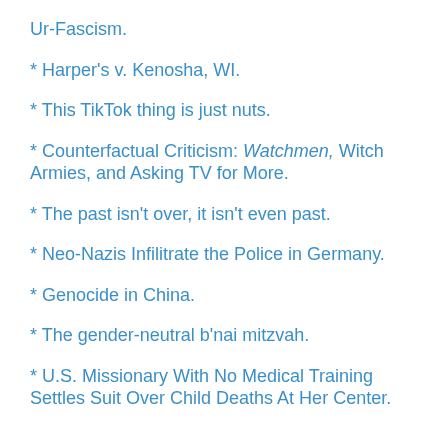Ur-Fascism.
* Harper's v. Kenosha, WI.
* This TikTok thing is just nuts.
* Counterfactual Criticism: Watchmen, Witch Armies, and Asking TV for More.
* The past isn't over, it isn't even past.
* Neo-Nazis Infilitrate the Police in Germany.
* Genocide in China.
* The gender-neutral b'nai mitzvah.
* U.S. Missionary With No Medical Training Settles Suit Over Child Deaths At Her Center.